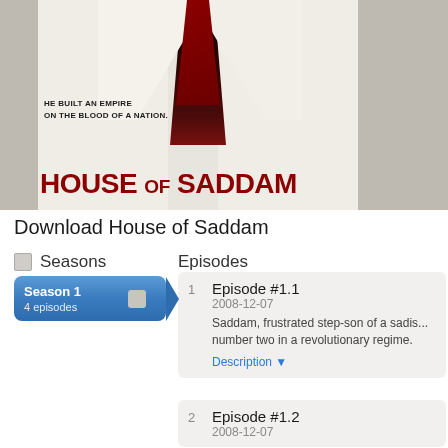[Figure (photo): House of Saddam TV show poster showing a man in a white coat with a dark red tie, with text 'HE BUILT AN EMPIRE ON THE BLOOD OF A NATION.' and 'HOUSE OF SADDAM' in large red letters]
Download House of Saddam
Seasons
Episodes
Season 1
4 episodes
Episode #1.1
2008-12-07
Saddam, frustrated step-son of a sadis... number two in a revolutionary regime.
Description ▼
Episode #1.2
2008-12-07